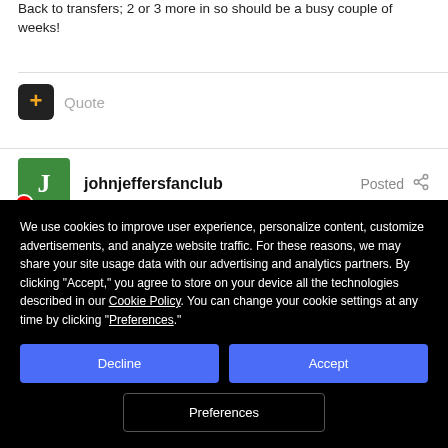Back to transfers; 2 or 3 more in so should be a busy couple of weeks!
[Figure (other): Quote button with '+' icon in dark square, followed by 'Quote' label in grey]
johnjeffersfanclub   Posted
We use cookies to improve user experience, personalize content, customize advertisements, and analyze website traffic. For these reasons, we may share your site usage data with our advertising and analytics partners. By clicking “Accept,” you agree to store on your device all the technologies described in our Cookie Policy. You can change your cookie settings at any time by clicking “Preferences.”
Decline   Accept   Preferences